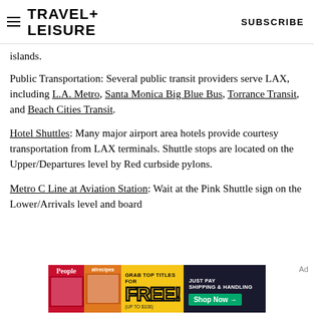TRAVEL+ LEISURE  SUBSCRIBE
islands.
Public Transportation: Several public transit providers serve LAX, including L.A. Metro, Santa Monica Big Blue Bus, Torrance Transit, and Beach Cities Transit.
Hotel Shuttles: Many major airport area hotels provide courtesy transportation from LAX terminals. Shuttle stops are located on the Upper/Departures level by Red curbside pylons.
Metro C Line at Aviation Station: Wait at the Pink Shuttle sign on the Lower/Arrivals level and board
[Figure (screenshot): Advertisement banner: magazines People and allrecipes with text 'GRAB TOP TITLES FOR FREE! (UP TO $100)' and 'JUST PAY SHIPPING & HANDLING Shop Now →' on dark and yellow background]